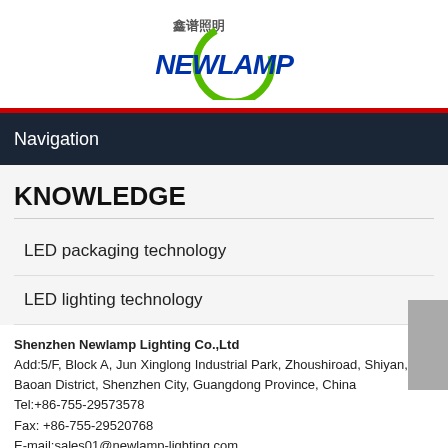[Figure (logo): Newlamp (鑫谱照明) company logo with green circular arc and blue NEWLAMP text]
Navigation
KNOWLEDGE
LED packaging technology
LED lighting technology
Shenzhen Newlamp Lighting Co.,Ltd
Add:5/F, Block A, Jun Xinglong Industrial Park, Zhoushiroad, Shiyan, Baoan District, Shenzhen City, Guangdong Province, China
Tel:+86-755-29573578
Fax: +86-755-29520768
E-mail:sales01@newlamp-lighting.com
https://www.aliexpress.com/store/5437251